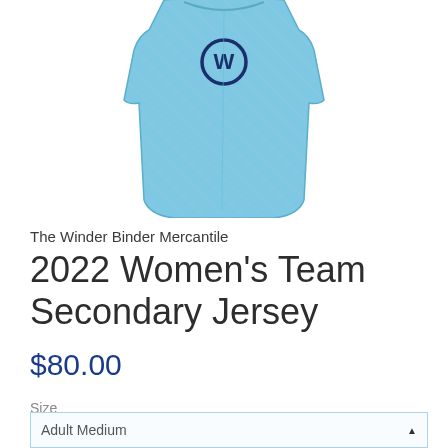[Figure (photo): Light blue women's sleeveless cycling jersey with diagonal stripe pattern and a dark navy logo/emblem on the chest area.]
The Winder Binder Mercantile
2022 Women's Team Secondary Jersey
$80.00
Size
Adult Medium